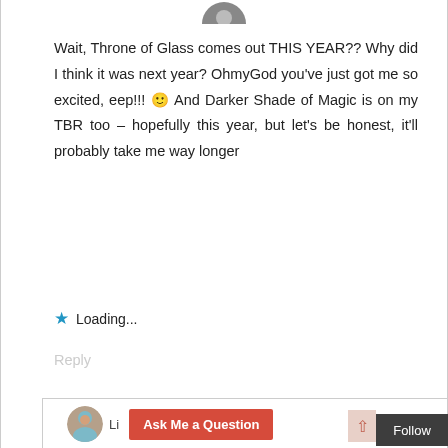[Figure (photo): Partial circular avatar photo at top center, showing the bottom portion of a person's profile picture]
Wait, Throne of Glass comes out THIS YEAR?? Why did I think it was next year? OhmyGod you've just got me so excited, eep!!! 🙂 And Darker Shade of Magic is on my TBR too – hopefully this year, but let's be honest, it'll probably take me way longer
★ Loading...
Reply
[Figure (photo): Bottom section showing a partial comment card with a circular avatar photo of a person, a red 'Ask Me a Question' button, and a dark 'Follow' button]